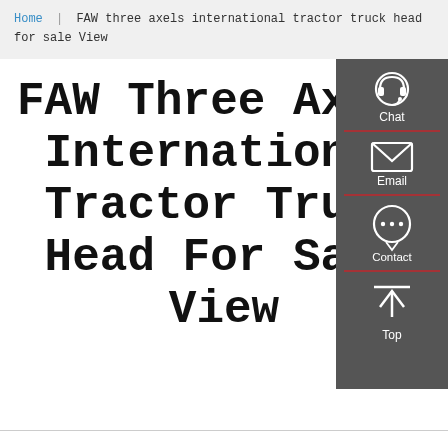Home | FAW three axels international tractor truck head for sale View
FAW Three Axels International Tractor Truck Head For Sale View
[Figure (infographic): Sidebar navigation panel with dark grey background containing four items: Chat (headset icon), Email (envelope icon), Contact (speech bubble icon), Top (upward arrow icon), separated by red horizontal lines.]